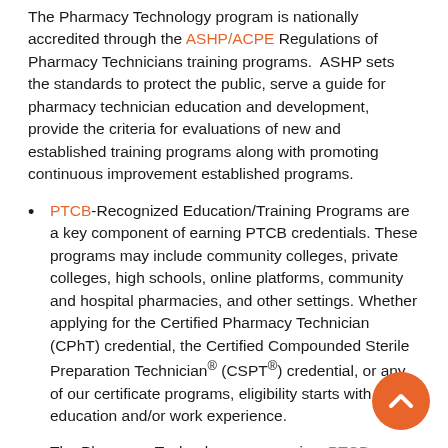The Pharmacy Technology program is nationally accredited through the ASHP/ACPE Regulations of Pharmacy Technicians training programs. ASHP sets the standards to protect the public, serve a guide for pharmacy technician education and development, provide the criteria for evaluations of new and established training programs along with promoting continuous improvement established programs.
PTCB-Recognized Education/Training Programs are a key component of earning PTCB credentials. These programs may include community colleges, private colleges, high schools, online platforms, community and hospital pharmacies, and other settings. Whether applying for the Certified Pharmacy Technician (CPhT) credential, the Certified Compounded Sterile Preparation Technician® (CSPT®) credential, or any of our certificate programs, eligibility starts with education and/or work experience.
The Pharmacy Technology program is a PTCB-